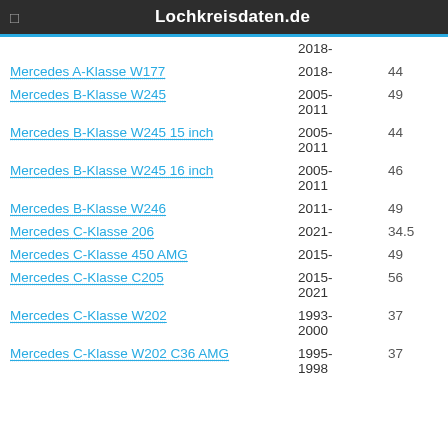Lochkreisdaten.de
| Model | Years | Value |
| --- | --- | --- |
|  | 2018- |  |
| Mercedes A-Klasse W177 | 2018- | 44 |
| Mercedes B-Klasse W245 | 2005-
2011 | 49 |
| Mercedes B-Klasse W245 15 inch | 2005-
2011 | 44 |
| Mercedes B-Klasse W245 16 inch | 2005-
2011 | 46 |
| Mercedes B-Klasse W246 | 2011- | 49 |
| Mercedes C-Klasse 206 | 2021- | 34.5 |
| Mercedes C-Klasse 450 AMG | 2015- | 49 |
| Mercedes C-Klasse C205 | 2015-
2021 | 56 |
| Mercedes C-Klasse W202 | 1993-
2000 | 37 |
| Mercedes C-Klasse W202 C36 AMG | 1995-
1998 | 37 |